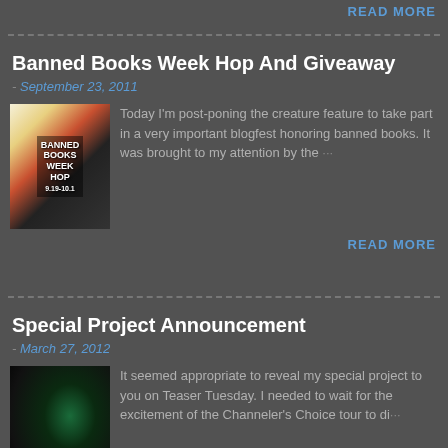READ MORE
Banned Books Week Hop And Giveaway
- September 23, 2011
[Figure (photo): Banned Books Week Hop book cover image with stacked books and event text]
Today I'm post-poning the creature feature to take part in a very important blogfest honoring banned books. It was brought to my attention by the ···
READ MORE
Special Project Announcement
- March 27, 2012
[Figure (photo): Dark close-up image with glowing green eye, likely a cat or animal]
It seemed appropriate to reveal my special project to you on Teaser Tuesday. I needed to wait for the excitement of the Channeler's Choice tour to di···